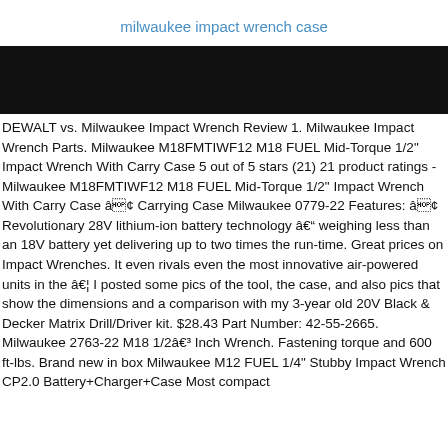milwaukee impact wrench case
[Figure (other): Black banner/header bar image]
DEWALT vs. Milwaukee Impact Wrench Review 1. Milwaukee Impact Wrench Parts. Milwaukee M18FMTIWF12 M18 FUEL Mid-Torque 1/2" Impact Wrench With Carry Case 5 out of 5 stars (21) 21 product ratings - Milwaukee M18FMTIWF12 M18 FUEL Mid-Torque 1/2" Impact Wrench With Carry Case â¢ Carrying Case Milwaukee 0779-22 Features: â¢ Revolutionary 28V lithium-ion battery technology â weighing less than an 18V battery yet delivering up to two times the run-time. Great prices on Impact Wrenches. It even rivals even the most innovative air-powered units in the â¦ I posted some pics of the tool, the case, and also pics that show the dimensions and a comparison with my 3-year old 20V Black & Decker Matrix Drill/Driver kit. $28.43 Part Number: 42-55-2665. Milwaukee 2763-22 M18 1/2â³ Inch Wrench. Fastening torque and 600 ft-lbs. Brand new in box Milwaukee M12 FUEL 1/4" Stubby Impact Wrench CP2.0 Battery+Charger+Case Most compact